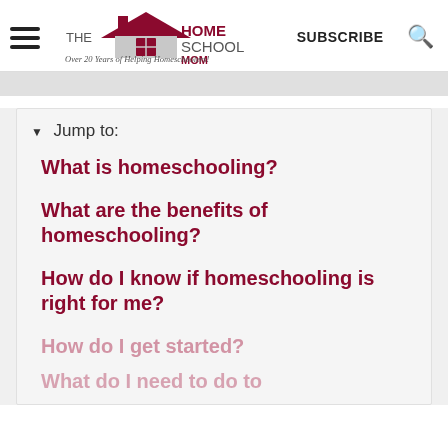THE HOMESCHOOL MOM — Over 20 Years of Helping Homeschoolers! | SUBSCRIBE | Search
▼ Jump to:
What is homeschooling?
What are the benefits of homeschooling?
How do I know if homeschooling is right for me?
How do I get started?
What do I need to do to